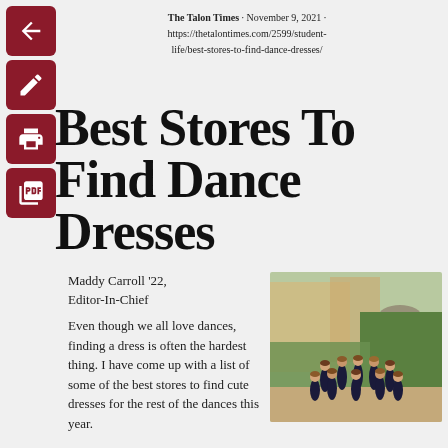The Talon Times · November 9, 2021 · https://thetalontimes.com/2599/student-life/best-stores-to-find-dance-dresses/
Best Stores To Find Dance Dresses
Maddy Carroll '22, Editor-In-Chief
[Figure (photo): Group photo of approximately 10 girls wearing dark navy dresses, posed together outdoors in front of greenery and a building.]
Even though we all love dances, finding a dress is often the hardest thing. I have come up with a list of some of the best stores to find cute dresses for the rest of the dances this year.